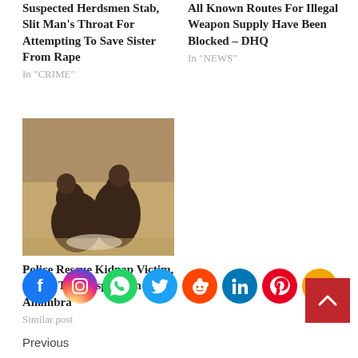Suspected Herdsmen Stab, Slit Man's Throat For Attempting To Save Sister From Rape
In "CRIME"
All Known Routes For Illegal Weapon Supply Have Been Blocked – DHQ
In "NEWS"
[Figure (photo): Two men sitting on the ground outdoors, shirtless, one hunched and one facing camera]
Police Rescue Kidnap Victim, Arrest Two Suspects In Anambra
Similar post
[Figure (infographic): Row of social media share icons: Facebook, Instagram, WhatsApp, Twitter, Reddit, LinkedIn, Pinterest, Share]
Previous